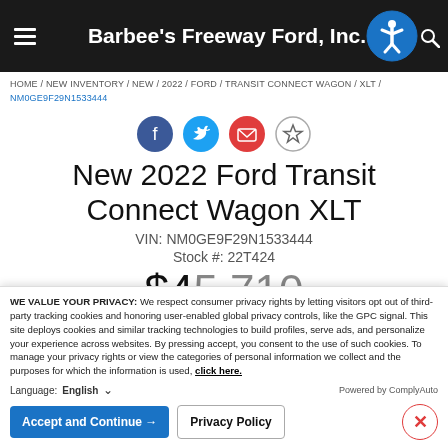Barbee's Freeway Ford, Inc.
HOME / NEW INVENTORY / NEW / 2022 / FORD / TRANSIT CONNECT WAGON / XLT / NM0GE9F29N1533444
[Figure (infographic): Social sharing icons row: Facebook (dark blue circle), Twitter (light blue circle), Email (red circle), Star/favorite (outline circle)]
New 2022 Ford Transit Connect Wagon XLT
VIN: NM0GE9F29N1533444
Stock #: 22T424
WE VALUE YOUR PRIVACY: We respect consumer privacy rights by letting visitors opt out of third-party tracking cookies and honoring user-enabled global privacy controls, like the GPC signal. This site deploys cookies and similar tracking technologies to build profiles, serve ads, and personalize your experience across websites. By pressing accept, you consent to the use of such cookies. To manage your privacy rights or view the categories of personal information we collect and the purposes for which the information is used, click here.
Language: English  ˅  Powered by ComplyAuto
Accept and Continue →  Privacy Policy  ✕